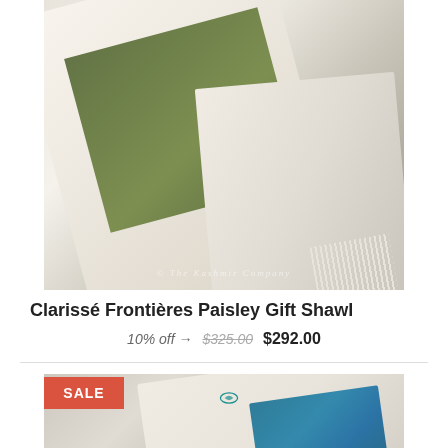[Figure (photo): White cream shawl with green paisley embroidered stripe and fringe edges, draped and folded, with watermark text '© The Kashmir Company']
Clarissé Frontières Paisley Gift Shawl
10% off →  $325.00  $292.00
[Figure (photo): White cream shawl with teal/blue paisley embroidered section, folded, with SALE badge overlay]